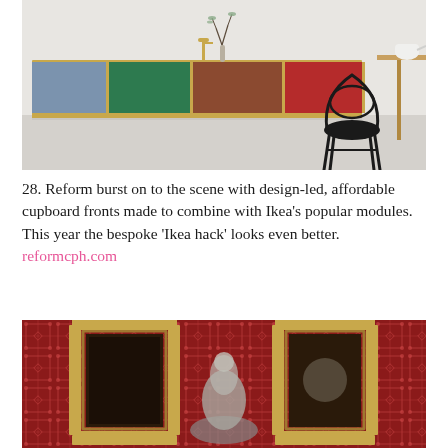[Figure (photo): A colorful kitchen sideboard/cabinet with blue, green, brown, and red cabinet fronts on a gold/brass base, positioned in a minimal white room. A black bentwood chair and wooden table with a white teapot are visible to the right.]
28. Reform burst on to the scene with design-led, affordable cupboard fronts made to combine with Ikea's popular modules. This year the bespoke 'Ikea hack' looks even better. reformcph.com
[Figure (photo): A richly decorated interior with deep red patterned wallpaper featuring geometric/lattice designs. Two ornate gold baroque-style picture frames hang on the wall, with a sculptural figure visible between them.]